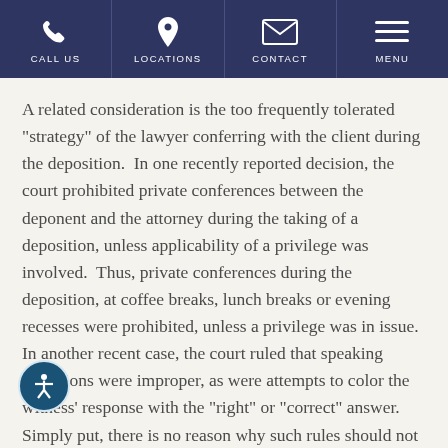CALL US | LOCATIONS | CONTACT | MENU
A related consideration is the too frequently tolerated "strategy" of the lawyer conferring with the client during the deposition.  In one recently reported decision, the court prohibited private conferences between the deponent and the attorney during the taking of a deposition, unless applicability of a privilege was involved.  Thus, private conferences during the deposition, at coffee breaks, lunch breaks or evening recesses were prohibited, unless a privilege was in issue. In another recent case, the court ruled that speaking objections were improper, as were attempts to color the witness' response with the "right" or "correct" answer. Simply put, there is no reason why such rules should not during the taking of a matrimonial deposition, and you should not hesitate to seek the intervention of the court in